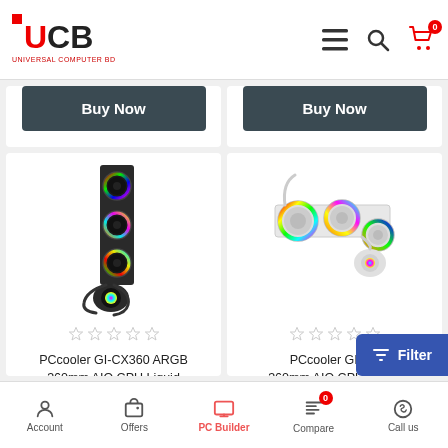[Figure (logo): UCB - Universal Computer BD logo in red and black]
[Figure (screenshot): Top navigation bar with hamburger menu, search icon, and cart icon with 0 badge]
Buy Now
Buy Now
[Figure (photo): PCcooler GI-CX360 ARGB 360mm AIO CPU Liquid cooler - black vertical unit with three RGB fans and pump]
[Figure (photo): PCcooler GI-CX360 ARGB 360mm AIO CPU Liquid cooler - white unit with three RGB fans]
PCcooler GI-CX360 ARGB 360mm AIO CPU Liquid
PCcooler GI-CX360 ARGB 360mm AIO CPU Liquid
[Figure (infographic): Filter button overlay in blue]
Account | Offers | PC Builder | Compare (0) | Call us